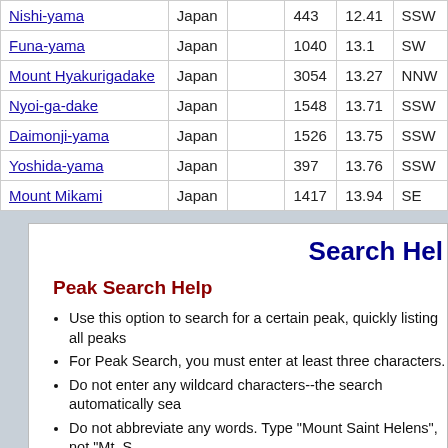| Name | Country |  | Elevation | Distance | Direction |
| --- | --- | --- | --- | --- | --- |
| Nishi-yama | Japan |  | 443 | 12.41 | SSW |
| Funa-yama | Japan |  | 1040 | 13.1 | SW |
| Mount Hyakurigadake | Japan |  | 3054 | 13.27 | NNW |
| Nyoi-ga-dake | Japan |  | 1548 | 13.71 | SSW |
| Daimonji-yama | Japan |  | 1526 | 13.75 | SSW |
| Yoshida-yama | Japan |  | 397 | 13.76 | SSW |
| Mount Mikami | Japan |  | 1417 | 13.94 | SE |
Search Hel
Peak Search Help
Use this option to search for a certain peak, quickly listing all peaks
For Peak Search, you must enter at least three characters.
Do not enter any wildcard characters--the search automatically sea
Do not abbreviate any words. Type "Mount Saint Helens", not "Mt. S
The maximum number of search results for any Peak Search is abo
For common peak names, you can filter by selecting a Nation and/o this filter.
Searching is not case-sensitive and ignores all accents and diacriti
The results are in order of how many page hits a Peak has received first.
Radius Search Help